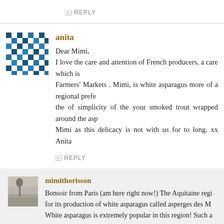REPLY
anita
Dear Mimi,
I love the care and attention of French producers, a care which is Farmers' Markets . Mimi, is white asparagus more of a regional prefe the of simplicity of the your smoked trout wrapped around the asp Mimi as this delicacy is not with us for to long. xx Anita
REPLY
mimithorisson
Bonsoir from Paris (am here right now!) The Aquitaine regi for its production of white asparagus called asperges des M White asparagus is extremely popular in this region! Such a
REPLY